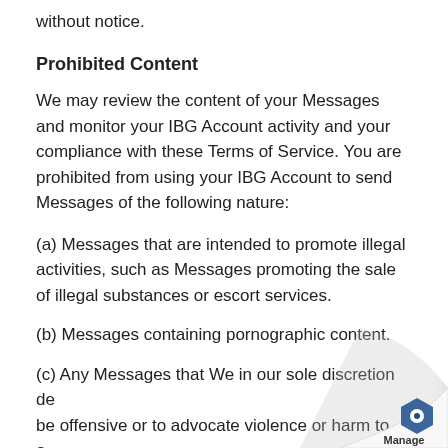without notice.
Prohibited Content
We may review the content of your Messages and monitor your IBG Account activity and your compliance with these Terms of Service. You are prohibited from using your IBG Account to send Messages of the following nature:
(a) Messages that are intended to promote illegal activities, such as Messages promoting the sale of illegal substances or escort services.
(b) Messages containing pornographic content.
(c) Any Messages that We in our sole discretion deem to be offensive or to advocate violence or harm to others.
(d) Messages that are intended to defame others...